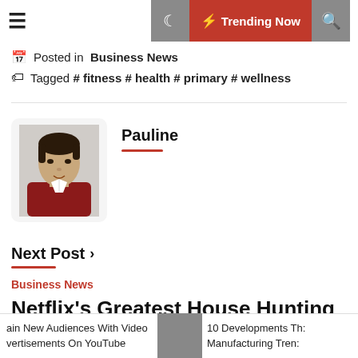Trending Now
Posted in  Business News
Tagged # fitness # health # primary # wellness
Pauline
[Figure (photo): Author photo of Pauline, a person with short dark hair]
Next Post
Business News
Netflix's Greatest House Hunting And Improvement Shows For Hgtv
ain New Audiences With Video vertisements On YouTube | 10 Developments Th: Manufacturing Tren: